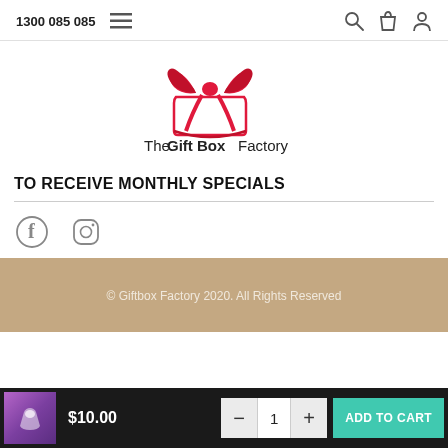1300 085 085
[Figure (logo): The Gift Box Factory logo with red bow ribbon above the text]
TO RECEIVE MONTHLY SPECIALS
[Figure (illustration): Facebook and Instagram social media icons]
© Giftbox Factory 2020. All Rights Reserved
$10.00
1
ADD TO CART